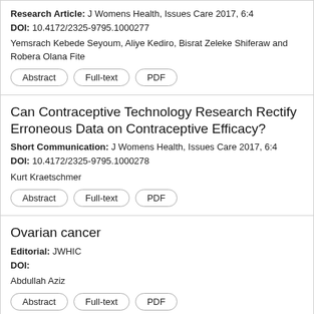Research Article: J Womens Health, Issues Care 2017, 6:4
DOI: 10.4172/2325-9795.1000277
Yemsrach Kebede Seyoum, Aliye Kediro, Bisrat Zeleke Shiferaw and Robera Olana Fite
Can Contraceptive Technology Research Rectify Erroneous Data on Contraceptive Efficacy?
Short Communication: J Womens Health, Issues Care 2017, 6:4
DOI: 10.4172/2325-9795.1000278
Kurt Kraetschmer
Ovarian cancer
Editorial: JWHIC
DOI:
Abdullah Aziz